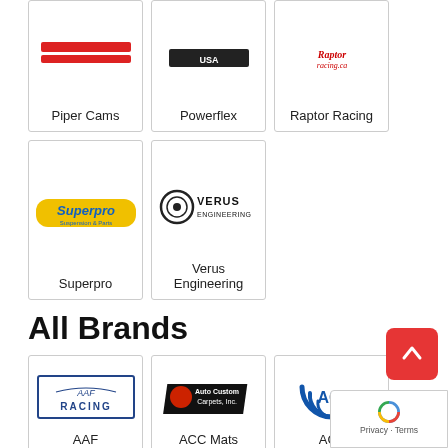[Figure (logo): Piper Cams logo (partial, red)]
Piper Cams
[Figure (logo): Powerflex logo (partial, USA)]
Powerflex
[Figure (logo): Raptor Racing logo (red script, racing.ca)]
Raptor Racing
[Figure (logo): Superpro suspension parts logo (yellow/blue)]
Superpro
[Figure (logo): Verus Engineering logo (black circle with target and text)]
Verus Engineering
All Brands
[Figure (logo): AAF Racing logo (blue car outline with RACING text in a rectangle)]
AAF
[Figure (logo): ACC Mats / Auto Custom Carpets Inc. logo (red/black diagonal)]
ACC Mats
[Figure (logo): ACL logo (blue concentric arcs with ACL text)]
ACL
[Figure (logo): Partial logo at bottom left (cut off)]
[Figure (logo): Partial logo at bottom center (star/wing shape, cut off)]
[Figure (logo): Partial logo at bottom right (cut off)]